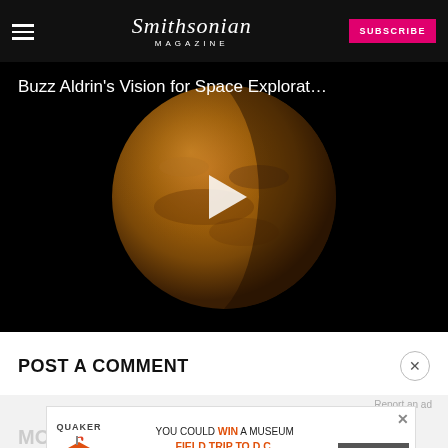Smithsonian Magazine | SUBSCRIBE
[Figure (screenshot): Video thumbnail showing Mars planet against black background with white play button overlay, titled 'Buzz Aldrin's Vision for Space Explorat...']
POST A COMMENT
Report an ad
[Figure (infographic): Quaker Museum Day advertisement banner: 'YOU COULD WIN A MUSEUM FIELD TRIP TO D.C. NO PURCHASE NECESSARY. ENDS 9/14/22. SEE WEBSITE FOR DETAILS AND OFFICIAL RULES.' with LEARN MORE button]
MO
This 17-Year-Old Desi...